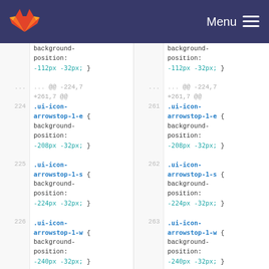GitLab — Menu
[Figure (screenshot): GitLab diff view showing CSS code with line numbers. Left pane shows old lines, right pane shows new lines. Lines 224-226 on left, 261-263 on right. CSS selectors .ui-icon-arrowstop-1-e, .ui-icon-arrowstop-1-s, .ui-icon-arrowstop-1-w with background-position values -208px -32px, -224px -32px, -240px -32px respectively. Diff hunk header @@ -224,7 +261,7 @@ shown.]